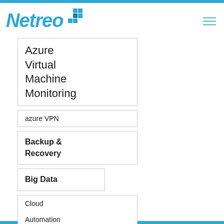[Figure (logo): Netreo logo with blue italic bold text and blue square dot grid icon]
Azure Virtual Machine Monitoring
azure VPN
Backup & Recovery
Big Data
Cloud Automation
Cloud Management